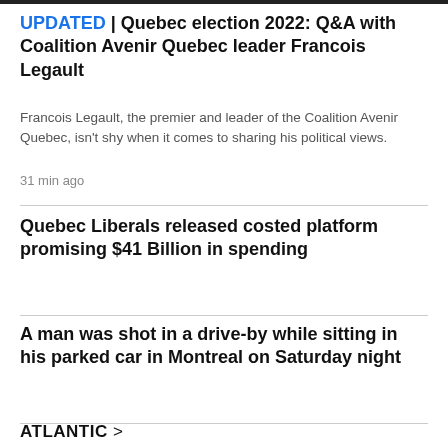UPDATED | Quebec election 2022: Q&A with Coalition Avenir Quebec leader Francois Legault
Francois Legault, the premier and leader of the Coalition Avenir Quebec, isn't shy when it comes to sharing his political views.
31 min ago
Quebec Liberals released costed platform promising $41 Billion in spending
A man was shot in a drive-by while sitting in his parked car in Montreal on Saturday night
ATLANTIC >